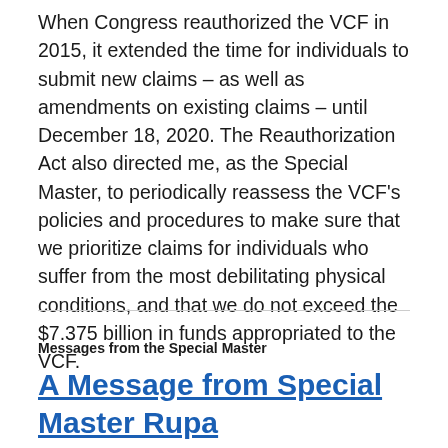When Congress reauthorized the VCF in 2015, it extended the time for individuals to submit new claims – as well as amendments on existing claims – until December 18, 2020. The Reauthorization Act also directed me, as the Special Master, to periodically reassess the VCF's policies and procedures to make sure that we prioritize claims for individuals who suffer from the most debilitating physical conditions, and that we do not exceed the $7.375 billion in funds appropriated to the VCF.
Messages from the Special Master
A Message from Special Master Rupa Bhattacharyya